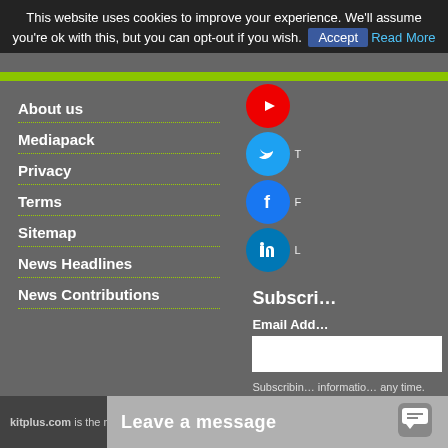This website uses cookies to improve your experience. We'll assume you're ok with this, but you can opt-out if you wish. Accept Read More
About us
Mediapack
Privacy
Terms
Sitemap
News Headlines
News Contributions
[Figure (illustration): Social media icons: YouTube (red), Twitter (blue), Facebook (blue), LinkedIn (blue) circles on right side]
Subscri…
Email Add…
Subscribin… informatio… any time.
kitplus.com is the new nam…
Leave a message